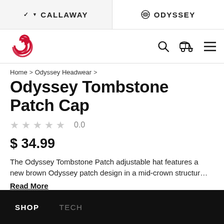CALLAWAY | ODYSSEY
[Figure (logo): Callaway spiral red logo and navigation icons (search, golf cart, hamburger menu)]
Home > Odyssey Headwear >
Odyssey Tombstone Patch Cap
★★★★★ 0.0
$ 34.99
The Odyssey Tombstone Patch adjustable hat features a new brown Odyssey patch design in a mid-crown structur…
Read More
SHOP  TECH